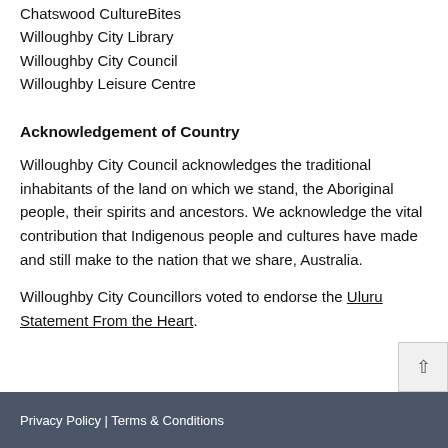Chatswood CultureBites
Willoughby City Library
Willoughby City Council
Willoughby Leisure Centre
Acknowledgement of Country
Willoughby City Council acknowledges the traditional inhabitants of the land on which we stand, the Aboriginal people, their spirits and ancestors. We acknowledge the vital contribution that Indigenous people and cultures have made and still make to the nation that we share, Australia.
Willoughby City Councillors voted to endorse the Uluru Statement From the Heart.
Privacy Policy | Terms & Conditions